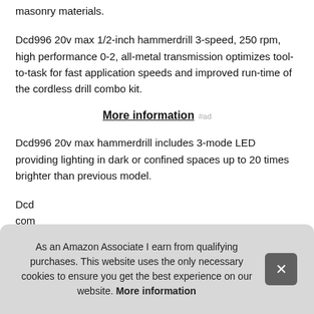masonry materials.
Dcd996 20v max 1/2-inch hammerdrill 3-speed, 250 rpm, high performance 0-2, all-metal transmission optimizes tool-to-task for fast application speeds and improved run-time of the cordless drill combo kit.
More information #ad
Dcd996 20v max hammerdrill includes 3-mode LED providing lighting in dark or confined spaces up to 20 times brighter than previous model.
Dcd com and max 825
As an Amazon Associate I earn from qualifying purchases. This website uses the only necessary cookies to ensure you get the best experience on our website. More information